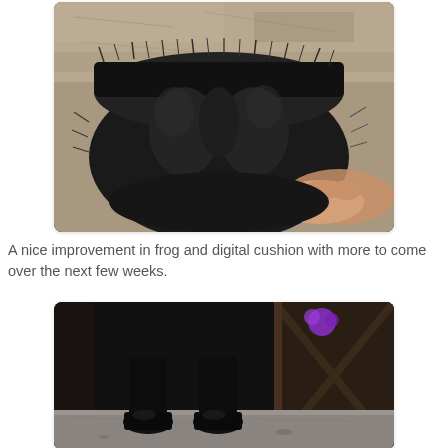[Figure (photo): Close-up photo of a horse hoof being held in a hand, showing the underside/back of the hoof. The hoof is dark/black with fur-like hair around the coronet band. The frog and digital cushion area is visible. Background is a rough stone/dirt surface.]
A nice improvement in frog and digital cushion with more to come over the next few weeks.
[Figure (photo): Photo of a horse's lower legs and hooves standing on a concrete floor. The hooves are dark/black. A purple flower and wooden structure are visible in the background. The image is partially cropped at the bottom.]